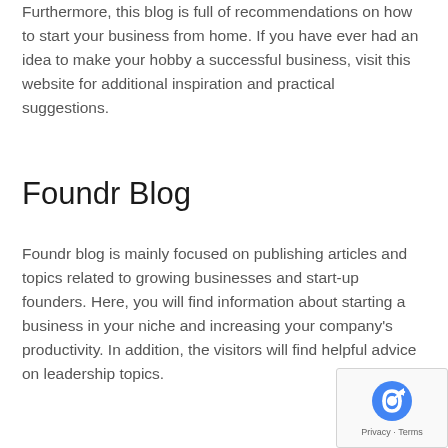Furthermore, this blog is full of recommendations on how to start your business from home. If you have ever had an idea to make your hobby a successful business, visit this website for additional inspiration and practical suggestions.
Foundr Blog
Foundr blog is mainly focused on publishing articles and topics related to growing businesses and start-up founders. Here, you will find information about starting a business in your niche and increasing your company's productivity. In addition, the visitors will find helpful advice on leadership topics.